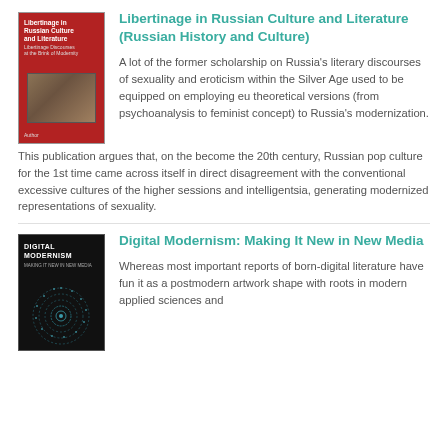[Figure (illustration): Book cover for 'Libertinage in Russian Culture and Literature' - red/maroon cover with classical painting image]
Libertinage in Russian Culture and Literature (Russian History and Culture)
A lot of the former scholarship on Russia’s literary discourses of sexuality and eroticism within the Silver Age used to be equipped on employing eu theoretical versions (from psychoanalysis to feminist concept) to Russia’s modernization. This publication argues that, on the become the 20th century, Russian pop culture for the 1st time came across itself in direct disagreement with the conventional excessive cultures of the higher sessions and intelligentsia, generating modernized representations of sexuality.
[Figure (illustration): Book cover for 'Digital Modernism: Making It New in New Media' - dark cover with circular spiral pattern of dots]
Digital Modernism: Making It New in New Media
Whereas most important reports of born-digital literature have fun it as a postmodern artwork shape with roots in modern applied sciences and ambitions to replace the Modernist...